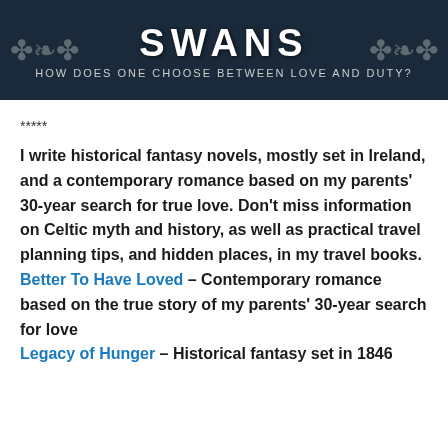[Figure (illustration): Book cover banner with dark teal/navy background, large bold white text reading SWANS, subtitle 'How does one choose between love and duty?' in smaller text, with Celtic knotwork decorations on the corners]
*****
I write historical fantasy novels, mostly set in Ireland, and a contemporary romance based on my parents' 30-year search for true love. Don't miss information on Celtic myth and history, as well as practical travel planning tips, and hidden places, in my travel books. Better To Have Loved – Contemporary romance based on the true story of my parents' 30-year search for love
Legacy of Hunger – Historical fantasy set in 1846